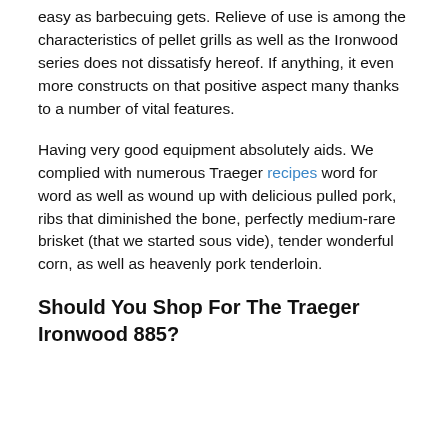easy as barbecuing gets. Relieve of use is among the characteristics of pellet grills as well as the Ironwood series does not dissatisfy hereof. If anything, it even more constructs on that positive aspect many thanks to a number of vital features.
Having very good equipment absolutely aids. We complied with numerous Traeger recipes word for word as well as wound up with delicious pulled pork, ribs that diminished the bone, perfectly medium-rare brisket (that we started sous vide), tender wonderful corn, as well as heavenly pork tenderloin.
Should You Shop For The Traeger Ironwood 885?